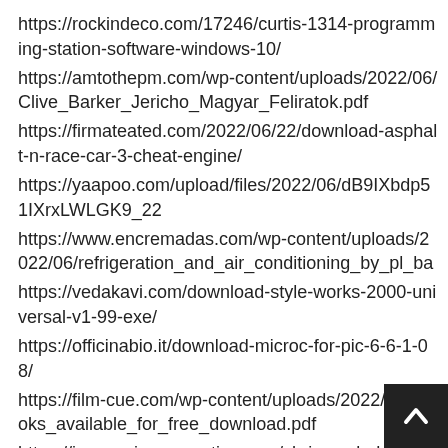https://rockindeco.com/17246/curtis-1314-programming-station-software-windows-10/
https://amtothepm.com/wp-content/uploads/2022/06/Clive_Barker_Jericho_Magyar_Feliratok.pdf
https://firmateated.com/2022/06/22/download-asphalt-n-race-car-3-cheat-engine/
https://yaapoo.com/upload/files/2022/06/dB9IXbdp51IXrxLWLGK9_22
https://www.encremadas.com/wp-content/uploads/2022/06/refrigeration_and_air_conditioning_by_pl_ba
https://vedakavi.com/download-style-works-2000-universal-v1-99-exe/
https://officinabio.it/download-microc-for-pic-6-6-1-08/
https://film-cue.com/wp-content/uploads/2022/06/Books_available_for_free_download.pdf
https://innovacioncosmetica.com/chris-gayle-hd-wallpaper-for-cricket-07/